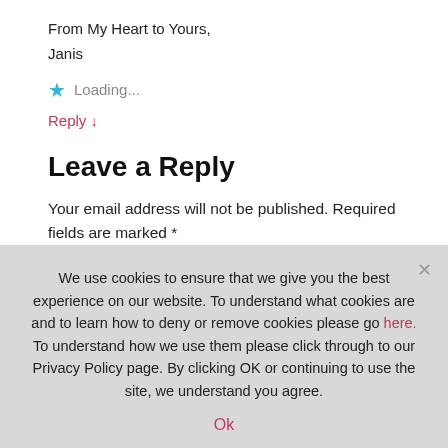From My Heart to Yours,
Janis
★ Loading...
Reply ↓
Leave a Reply
Your email address will not be published. Required fields are marked *
Comment *
We use cookies to ensure that we give you the best experience on our website. To understand what cookies are and to learn how to deny or remove cookies please go here. To understand how we use them please click through to our Privacy Policy page. By clicking OK or continuing to use the site, we understand you agree.
Ok